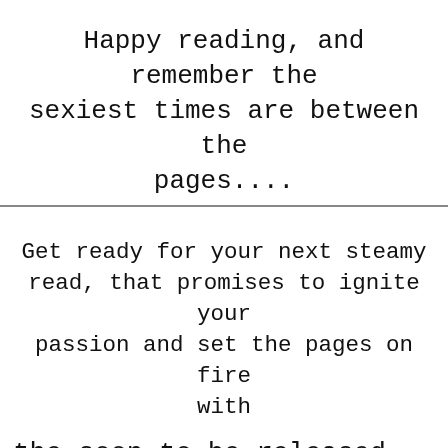Happy reading, and remember the sexiest times are between the pages....
Get ready for your next steamy read, that promises to ignite your passion and set the pages on fire with
the soon to be released...
SARA'S FOREVER